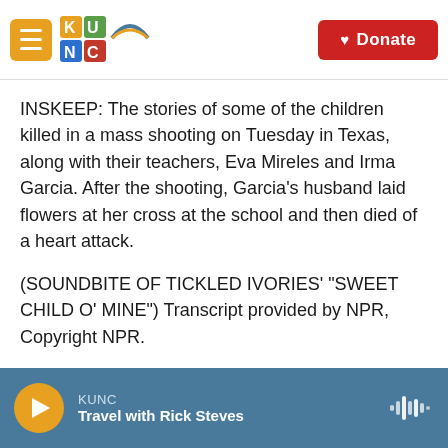KUNC | Donate
INSKEEP: The stories of some of the children killed in a mass shooting on Tuesday in Texas, along with their teachers, Eva Mireles and Irma Garcia. After the shooting, Garcia's husband laid flowers at her cross at the school and then died of a heart attack.
(SOUNDBITE OF TICKLED IVORIES' "SWEET CHILD O' MINE") Transcript provided by NPR, Copyright NPR.
[Figure (infographic): Social share buttons: Facebook (blue), Twitter (blue), LinkedIn (blue), Email (outline)]
KUNC | Travel with Rick Steves